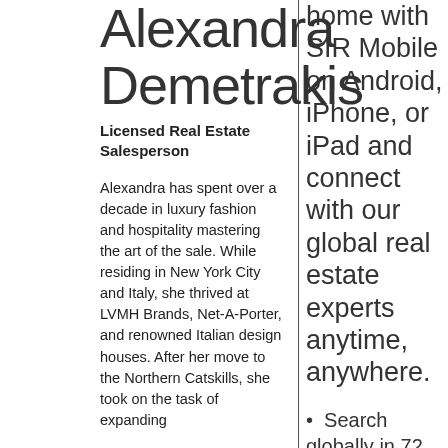Alexandra Demetrakis
Licensed Real Estate Salesperson
Alexandra has spent over a decade in luxury fashion and hospitality mastering the art of the sale. While residing in New York City and Italy, she thrived at LVMH Brands, Net-A-Porter, and renowned Italian design houses. After her move to the Northern Catskills, she took on the task of expanding
home with SIR Mobile on Android, iPhone, or iPad and connect with our global real estate experts anytime, anywhere.
Search globally in 72 countries